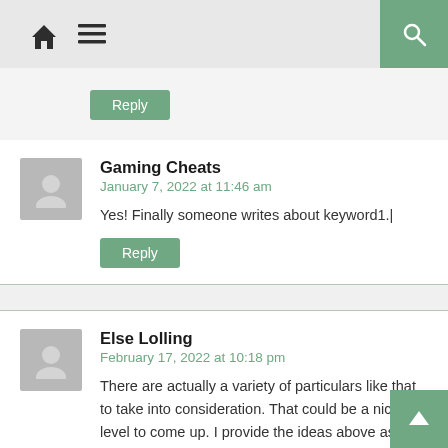Navigation bar with home icon, hamburger menu, and search button
Reply
Gaming Cheats
January 7, 2022 at 11:46 am
Yes! Finally someone writes about keyword1.|
Reply
Else Lolling
February 17, 2022 at 10:18 pm
There are actually a variety of particulars like that to take into consideration. That could be a nice level to come up. I provide the ideas above as normal inspiration but